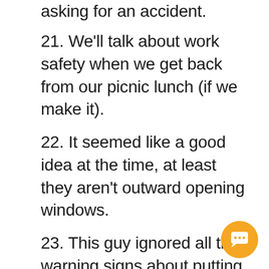asking for an accident.
21. We'll talk about work safety when we get back from our picnic lunch (if we make it).
22. It seemed like a good idea at the time, at least they aren't outward opening windows.
23. This guy ignored all the warning signs about putting bags